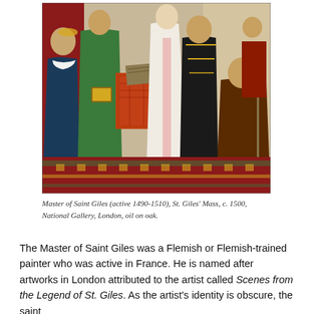[Figure (photo): A painting depicting a religious mass scene with multiple figures in medieval ecclesiastical robes and royal garb, including green vestments, red brocade, white alb, and a kneeling figure in dark robes. An altar with books and ornate coverings is visible.]
Master of Saint Giles (active 1490-1510), St. Giles' Mass, c. 1500, National Gallery, London, oil on oak.
The Master of Saint Giles was a Flemish or Flemish-trained painter who was active in France. He is named after artworks in London attributed to the artist called Scenes from the Legend of St. Giles. As the artist's identity is obscure, the saint